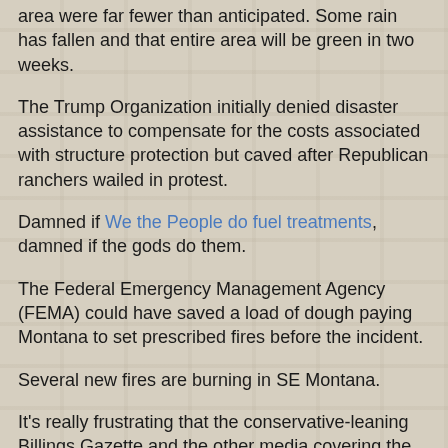area were far fewer than anticipated. Some rain has fallen and that entire area will be green in two weeks.
The Trump Organization initially denied disaster assistance to compensate for the costs associated with structure protection but caved after Republican ranchers wailed in protest.
Damned if We the People do fuel treatments, damned if the gods do them.
The Federal Emergency Management Agency (FEMA) could have saved a load of dough paying Montana to set prescribed fires before the incident.
Several new fires are burning in SE Montana.
It's really frustrating that the conservative-leaning Billings Gazette and the other media covering the blaze have done such a shitty job contrasting eastern Montana under Trump with that same beat under Obama. Most are guilty of whitewashing the Trump White House responses to the